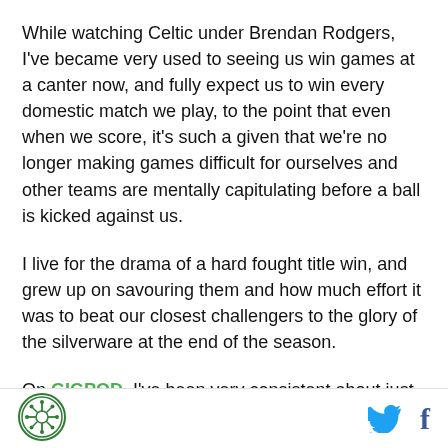While watching Celtic under Brendan Rodgers, I've became very used to seeing us win games at a canter now, and fully expect us to win every domestic match we play, to the point that even when we score, it's such a given that we're no longer making games difficult for ourselves and other teams are mentally capitulating before a ball is kicked against us.
I live for the drama of a hard fought title win, and grew up on savouring them and how much effort it was to beat our closest challengers to the glory of the silverware at the end of the season.
On GIGPOD, I've been very consistent about just how easy things are at a domestic level for Celtic, and I am
[Figure (logo): Celtic FC circular logo with decorative cross pattern, green and white]